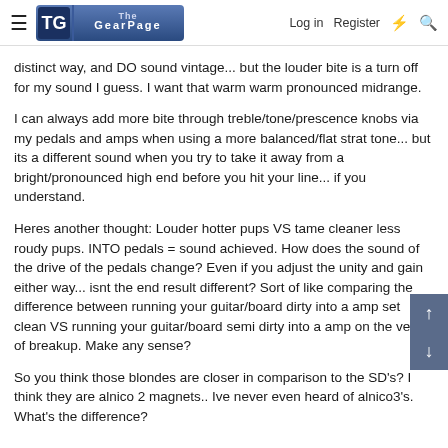The Gear Page — Log in  Register
distinct way, and DO sound vintage... but the louder bite is a turn off for my sound I guess. I want that warm warm pronounced midrange.
I can always add more bite through treble/tone/prescence knobs via my pedals and amps when using a more balanced/flat strat tone... but its a different sound when you try to take it away from a bright/pronounced high end before you hit your line... if you understand.
Heres another thought: Louder hotter pups VS tame cleaner less roudy pups. INTO pedals = sound achieved. How does the sound of the drive of the pedals change? Even if you adjust the unity and gain either way... isnt the end result different? Sort of like comparing the difference between running your guitar/board dirty into a amp set clean VS running your guitar/board semi dirty into a amp on the verge of breakup. Make any sense?
So you think those blondes are closer in comparison to the SD's? I think they are alnico 2 magnets.. Ive never even heard of alnico3's. What's the difference?